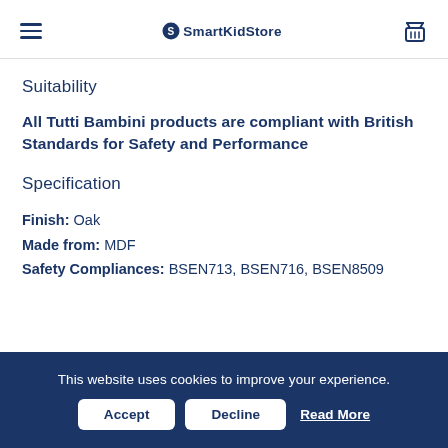SmartKidStore
Suitability
All Tutti Bambini products are compliant with British Standards for Safety and Performance
Specification
Finish: Oak
Made from: MDF
Safety Compliances: BSEN713, BSEN716, BSEN8509
This website uses cookies to improve your experience. Accept Decline Read More